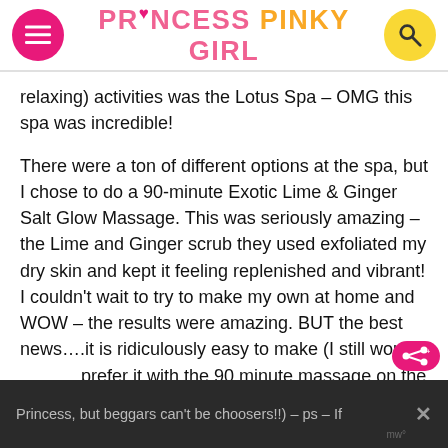PRINCESS PINKY GIRL
relaxing) activities was the Lotus Spa – OMG this spa was incredible!
There were a ton of different options at the spa, but I chose to do a 90-minute Exotic Lime & Ginger Salt Glow Massage. This was seriously amazing – the Lime and Ginger scrub they used exfoliated my dry skin and kept it feeling replenished and vibrant! I couldn't wait to try to make my own at home and WOW – the results were amazing. BUT the best news….it is ridiculously easy to make (I still wou prefer it with the 90 minute massage on the Ruby Princess, but beggars can't be choosers!!) – ps – If